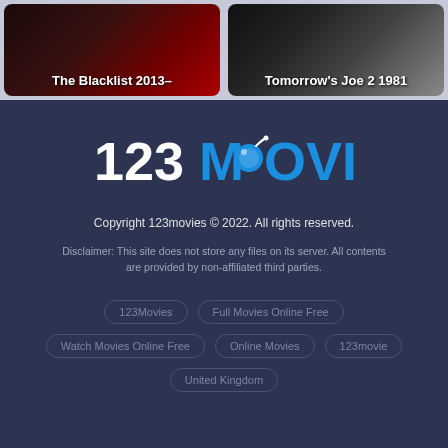[Figure (screenshot): Movie card thumbnail for The Blacklist 2013- with dark red background]
The Blacklist 2013–
[Figure (screenshot): Movie card thumbnail for Tomorrow's Joe 2 1981 with dark grey background]
Tomorrow's Joe 2 1981
[Figure (logo): 123MOVIES logo with white 123 and blue MOVIES text and bomb icon]
Copyright 123movies © 2022. All rights reserved.
Disclaimer: This site does not store any files on its server. All contents are provided by non-affiliated third parties.
123Movies
Full Movies Online Free
Watch Movies Online Free
Online Movies
123movie
United Kingdom